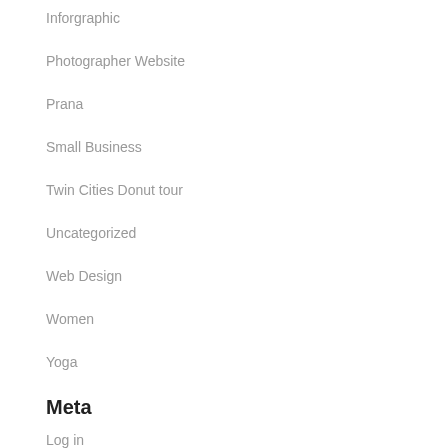Inforgraphic
Photographer Website
Prana
Small Business
Twin Cities Donut tour
Uncategorized
Web Design
Women
Yoga
Meta
Log in
Entries feed
Comments feed
WordPress.org